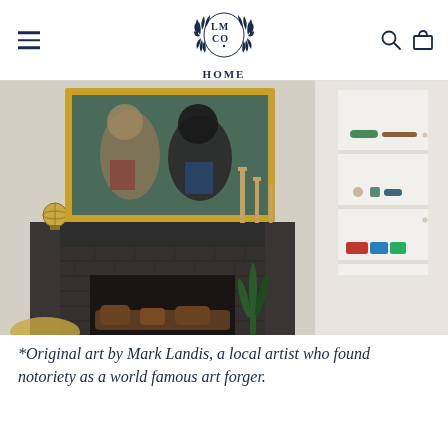LM CO HOME
[Figure (photo): Interior room photo showing a dark painted brick fireplace with a colorful painting of two anthropomorphic dogs above the mantel in a gold frame. Candlesticks on the mantel, a globe sculpture, a snake plant near the fireplace. On the right side, an open white built-in cabinet with shelves holding colorful accessories and leather straps.]
*Original art by Mark Landis, a local artist who found notoriety as a world famous art forger.